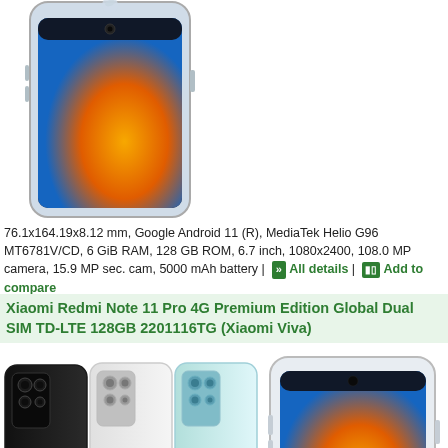[Figure (photo): Xiaomi Redmi Note 11 Pro phone shown from front, partially cropped at top]
76.1x164.19x8.12 mm, Google Android 11 (R), MediaTek Helio G96 MT6781V/CD, 6 GiB RAM, 128 GB ROM, 6.7 inch, 1080x2400, 108.0 MP camera, 15.9 MP sec. cam, 5000 mAh battery | All details | Add to compare
Xiaomi Redmi Note 11 Pro 4G Premium Edition Global Dual SIM TD-LTE 128GB 2201116TG (Xiaomi Viva)
[Figure (photo): Xiaomi Redmi Note 11 Pro 4G shown in three color variants (black, white, light blue) from the back, plus front view]